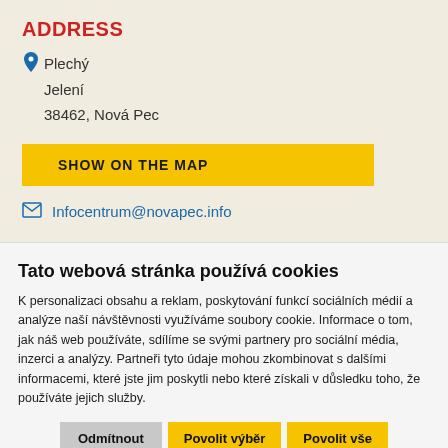ADDRESS
Plechý
Jelení
38462, Nová Pec
SHOW ON THE MAP
Infocentrum@novapec.info
Tato webová stránka používá cookies
K personalizaci obsahu a reklam, poskytování funkcí sociálních médií a analýze naší návštěvnosti využíváme soubory cookie. Informace o tom, jak náš web používáte, sdílíme se svými partnery pro sociální média, inzerci a analýzy. Partneři tyto údaje mohou zkombinovat s dalšími informacemi, které jste jim poskytli nebo které získali v důsledku toho, že používáte jejich služby.
Odmítnout | Povolit výběr | Povolit vše
Nutné  Preferenční  Statistické  Marketingové  Zobrazit detaily